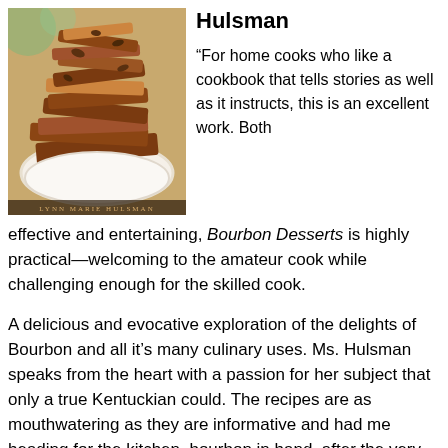Hulsman
[Figure (photo): Book cover photo of Bourbon Desserts by Lynn Marie Hulsman showing a pile of caramel brittle candy on a white plate with text 'LYNN MARIE HULSMAN' at the bottom]
“For home cooks who like a cookbook that tells stories as well as it instructs, this is an excellent work. Both effective and entertaining, Bourbon Desserts is highly practical—welcoming to the amateur cook while challenging enough for the skilled cook.
A delicious and evocative exploration of the delights of Bourbon and all it’s many culinary uses. Ms. Hulsman speaks from the heart with a passion for her subject that only a true Kentuckian could. The recipes are as mouthwatering as they are informative and had me heading for the kitchen, bourbon in hand, after the very